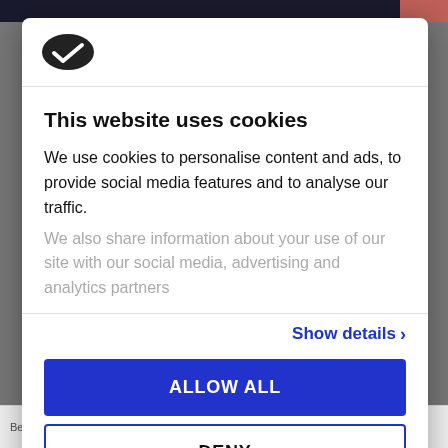[Figure (logo): Cookiebot logo — a dark oval/cookie shape with a checkmark inside]
This website uses cookies
We use cookies to personalise content and ads, to provide social media features and to analyse our traffic. We also share information about your use of our site with our social media, advertising and analytics partners
Show details ›
ALLOW ALL
DENY
Powered by Cookiebot by Usercentrics
Bedroom Mirror With
Cosmetic Makeup